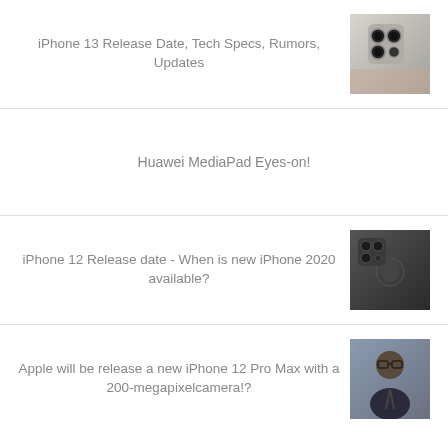iPhone 13 Release Date, Tech Specs, Rumors, Updates
[Figure (photo): Photo of iPhone 13 back panel showing quad camera system, held in hand]
Huawei MediaPad Eyes-on!
iPhone 12 Release date - When is new iPhone 2020 available?
[Figure (photo): Photo of iPhone 12 back panel in dark gray/space gray showing Apple logo and camera module]
Apple will be release a new iPhone 12 Pro Max with a 200-megapixelcamera!?
[Figure (photo): Photo of a man wearing glasses in a suit, speaking or being interviewed]